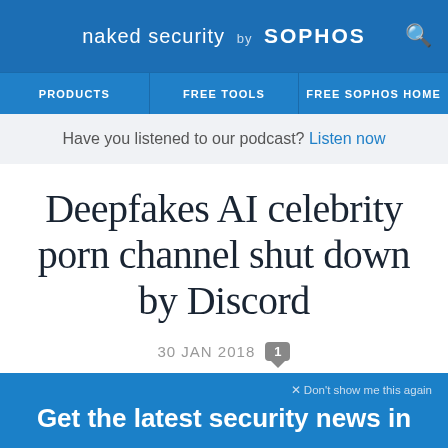naked security by SOPHOS
PRODUCTS | FREE TOOLS | FREE SOPHOS HOME
Have you listened to our podcast? Listen now
Deepfakes AI celebrity porn channel shut down by Discord
30 JAN 2018  1  Machine Learning, Privacy
× Don't show me this again
Get the latest security news in